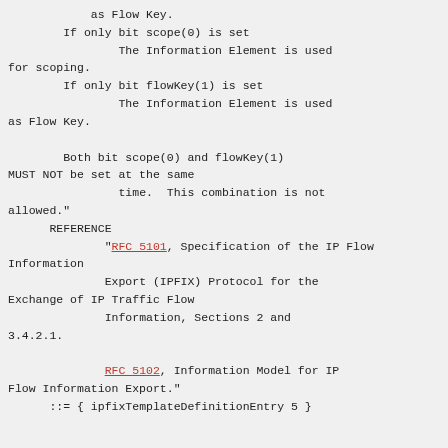as Flow Key.
        If only bit scope(0) is set
                The Information Element is used for scoping.
        If only bit flowKey(1) is set
                The Information Element is used as Flow Key.

        Both bit scope(0) and flowKey(1) MUST NOT be set at the same
                time.  This combination is not allowed."
      REFERENCE
              "RFC 5101, Specification of the IP Flow Information
              Export (IPFIX) Protocol for the Exchange of IP Traffic Flow
              Information, Sections 2 and 3.4.2.1.

              RFC 5102, Information Model for IP Flow Information Export."
      ::= { ipfixTemplateDefinitionEntry 5 }